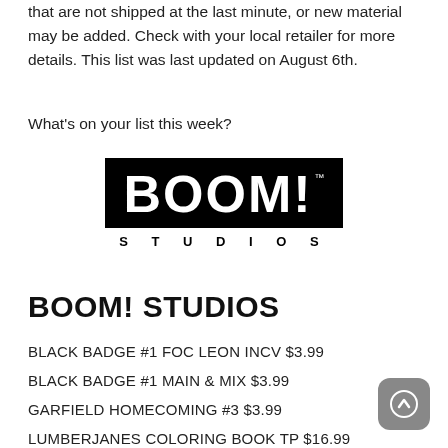that are not shipped at the last minute, or new material may be added. Check with your local retailer for more details. This list was last updated on August 6th.
What’s on your list this week?
[Figure (logo): BOOM! Studios logo: large black rectangle with white bold text 'BOOM!' and a trademark symbol, and 'STUDIOS' in spaced letters below.]
BOOM! STUDIOS
BLACK BADGE #1 FOC LEON INCV $3.99
BLACK BADGE #1 MAIN & MIX $3.99
GARFIELD HOMECOMING #3 $3.99
LUMBERJANES COLORING BOOK TP $16.99